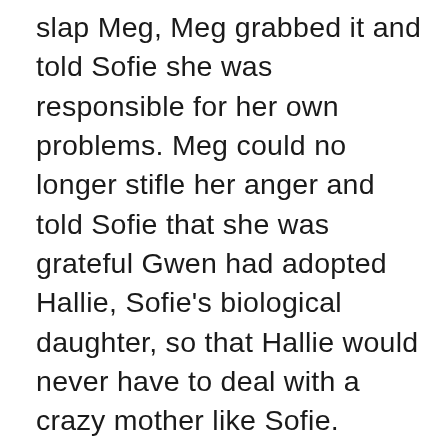slap Meg, Meg grabbed it and told Sofie she was responsible for her own problems. Meg could no longer stifle her anger and told Sofie that she was grateful Gwen had adopted Hallie, Sofie's biological daughter, so that Hallie would never have to deal with a crazy mother like Sofie. Shocked by Meg's words, Sofie collapsed on the floor. Meg was not convinced that Sofie had really fainted, but bent down to check on her, anyway. Just then Paul arrived and when Sofie came to, she asked Paul to make Meg leave, but instead Paul shocked Sofie by telling her it was time for her to leave the Lakeview. Sofie realized Paul was behind her eviction and she hurried off to her room. Paul turned to Meg and asked her to forget about Sofie and join him upstairs